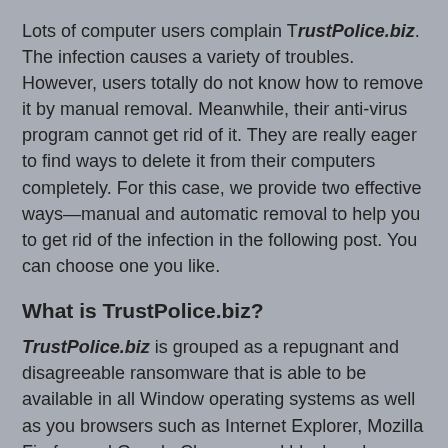Lots of computer users complain TrustPolice.biz. The infection causes a variety of troubles. However, users totally do not know how to remove it by manual removal. Meanwhile, their anti-virus program cannot get rid of it. They are really eager to find ways to delete it from their computers completely. For this case, we provide two effective ways—manual and automatic removal to help you to get rid of the infection in the following post. You can choose one you like.
What is TrustPolice.biz?
TrustPolice.biz is grouped as a repugnant and disagreeable ransomware that is able to be available in all Window operating systems as well as you browsers such as Internet Explorer, Mozilla Firefox and Google Chrome, and block and disable them.
If appearing on your computer, TrustPolice.biz affords to accuse you of executing a variety cybercrime action. And then, you will find that your files, documents, emails, and database stored in PC are encrypted. Finally, it will show you